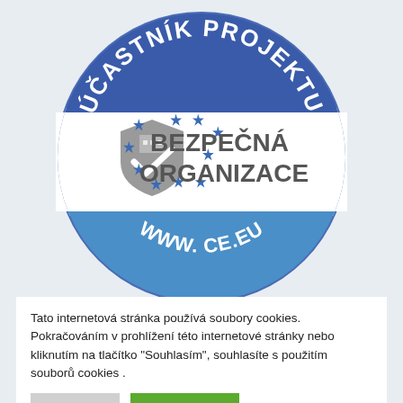[Figure (logo): Round badge/seal: top dark blue segment with white arched text 'ÚČASTNÍK PROJEKTU', middle white segment with shield+checkmark icon surrounded by blue stars and bold text 'BEZPEČNÁ ORGANIZACE', bottom blue segment with white text 'WWW...CE.EU']
Tato internetová stránka používá soubory cookies. Pokračováním v prohlížení této internetové stránky nebo kliknutím na tlačítko "Souhlasím", souhlasíte s použitím souborů cookies .
Nastavení
Přijmout vše